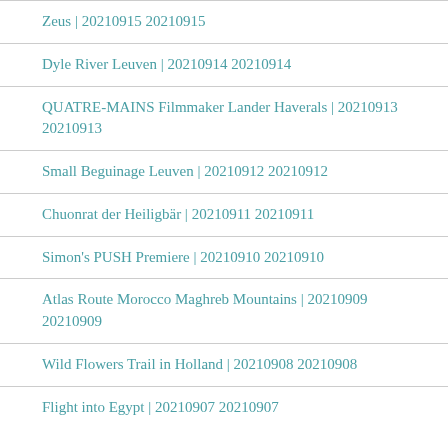Zeus | 20210915 20210915
Dyle River Leuven | 20210914 20210914
QUATRE-MAINS Filmmaker Lander Haverals | 20210913 20210913
Small Beguinage Leuven | 20210912 20210912
Chuonrat der Heiligbär | 20210911 20210911
Simon's PUSH Premiere | 20210910 20210910
Atlas Route Morocco Maghreb Mountains | 20210909 20210909
Wild Flowers Trail in Holland | 20210908 20210908
Flight into Egypt | 20210907 20210907